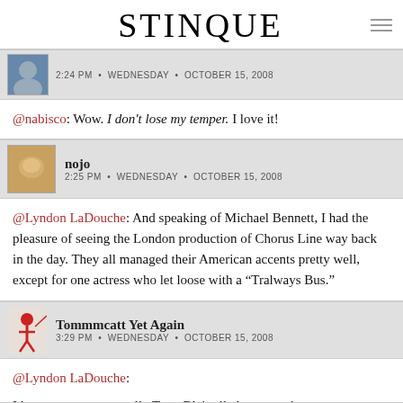STINQUE
2:24 PM • WEDNESDAY • OCTOBER 15, 2008
@nabisco: Wow. I don't lose my temper. I love it!
nojo
2:25 PM • WEDNESDAY • OCTOBER 15, 2008
@Lyndon LaDouche: And speaking of Michael Bennett, I had the pleasure of seeing the London production of Chorus Line way back in the day. They all managed their American accents pretty well, except for one actress who let loose with a "Tralways Bus."
Tommmcatt Yet Again
3:29 PM • WEDNESDAY • OCTOBER 15, 2008
@Lyndon LaDouche:

I knew you were actually Tony Blair all along, you know.